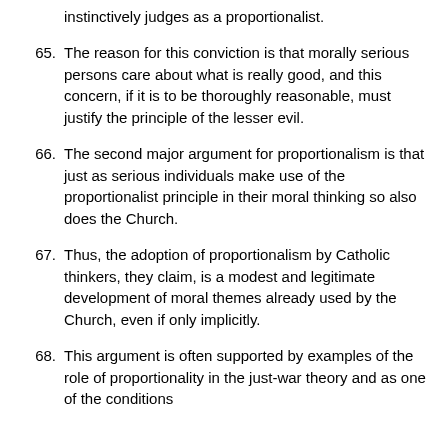instinctively judges as a proportionalist.
65. The reason for this conviction is that morally serious persons care about what is really good, and this concern, if it is to be thoroughly reasonable, must justify the principle of the lesser evil.
66. The second major argument for proportionalism is that just as serious individuals make use of the proportionalist principle in their moral thinking so also does the Church.
67. Thus, the adoption of proportionalism by Catholic thinkers, they claim, is a modest and legitimate development of moral themes already used by the Church, even if only implicitly.
68. This argument is often supported by examples of the role of proportionality in the just-war theory and as one of the conditions